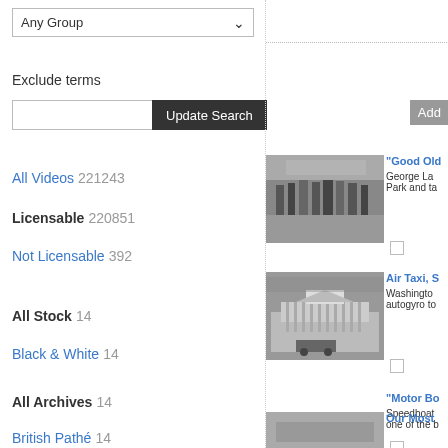Any Group (dropdown)
Exclude terms
Update Search
All Videos 221243
Licensable 220851
Not Licensable 392
All Stock 14
Black & White 14
All Archives 14
British Pathé 14
[Figure (screenshot): Search result thumbnail 1 - black and white image of people gathered outdoors]
"Good Old [...]
George La[...] Park and ta[...]
[Figure (screenshot): Search result thumbnail 2 - black and white image of a large neoclassical building]
Air Taxi, S[...]
Washington[...] autogyro to[...]
"Motor Bo[...]
Speedboat[...] one of the [...]
[Figure (screenshot): Search result thumbnail 4 - partial image visible at bottom]
Our Most
Add (button)